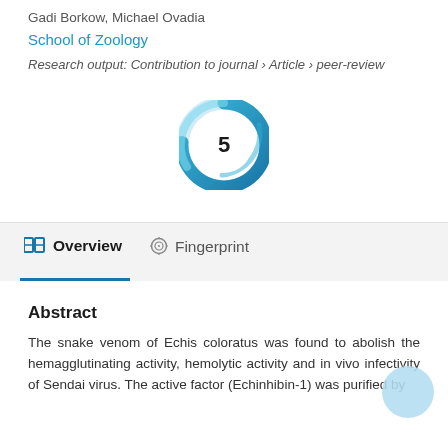Gadi Borkow, Michael Ovadia
School of Zoology
Research output: Contribution to journal › Article › peer-review
[Figure (other): Citation badge donut ring graphic showing the number 5 in the center, styled with blue swirling ring]
Overview
Fingerprint
Abstract
The snake venom of Echis coloratus was found to abolish the hemagglutinating activity, hemolytic activity and in vivo infectivity of Sendai virus. The active factor (Echinhibin-1) was purified by